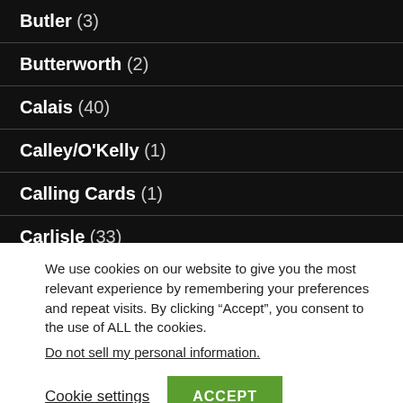Butler (3)
Butterworth (2)
Calais (40)
Calley/O'Kelly (1)
Calling Cards (1)
Carlisle (33)
Carpatho-Rusyn (18)
We use cookies on our website to give you the most relevant experience by remembering your preferences and repeat visits. By clicking “Accept”, you consent to the use of ALL the cookies.
Do not sell my personal information.
Cookie settings   ACCEPT